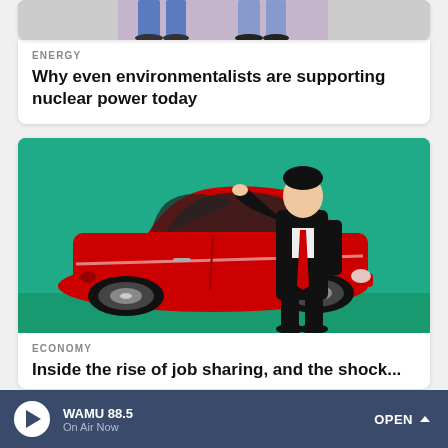[Figure (photo): Top portion of an image showing two people, partially cropped]
ENERGY
Why even environmentalists are supporting nuclear power today
[Figure (illustration): Illustration of a man in a black suit with red tie standing next to a red car on a teal background]
ECONOMY
Inside the rise of job sharing, and the shock...
WAMU 88.5 · On Air Now · OPEN